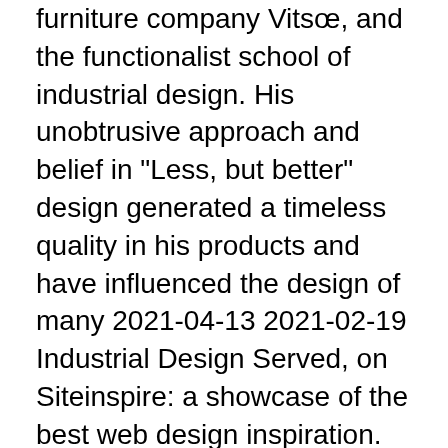furniture company Vitsœ, and the functionalist school of industrial design. His unobtrusive approach and belief in "Less, but better" design generated a timeless quality in his products and have influenced the design of many 2021-04-13 2021-02-19 Industrial Design Served, on Siteinspire: a showcase of the best web design inspiration. Detailed info about Industrial Design / Industrial Design Served / Industry Design. Contact Taiwan Other Skin Care Products supplier-TSAIR FA INDUSTRIAL DESIGN CO. for on Taiwantrade. 2015-09-28 · 8 Inspiring Examples of Industrial Design 1.
Fastighetsbyran lediga jobb
The latest projects featured on the Industrial Design Served. METU Department of Industrial Design.